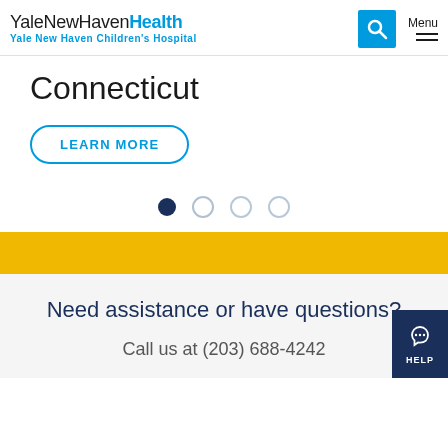YaleNewHavenHealth Yale New Haven Children's Hospital
Connecticut
LEARN MORE
[Figure (other): Carousel navigation dots: one filled dark blue dot and three outline dots]
[Figure (other): Yellow horizontal banner bar]
Need assistance or have questions?
Call us at (203) 688-4242